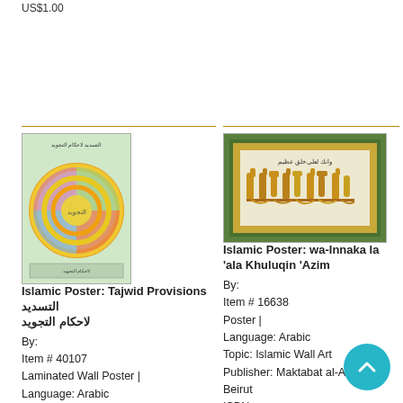US$1.00
[Figure (illustration): Islamic Poster Tajwid Provisions showing a colorful circular diagram with Arabic calligraphy]
Islamic Poster: Tajwid Provisions التسديد لاحكام التجويد
By:
Item # 40107
Laminated Wall Poster |
Language: Arabic
Topic: Islamic Poster - Tajweed Rules
Publisher: Jarir Bookstore, Garden Grove, CA
ISBN:
US$2.95
[Figure (illustration): Islamic Poster wa-Innaka la ala Khuluqin Azim showing Arabic calligraphy in ornate gold frame with green border]
Islamic Poster: wa-Innaka la 'ala Khuluqin 'Azim
By:
Item # 16638
Poster |
Language: Arabic
Topic: Islamic Wall Art
Publisher: Maktabat al-Assrya, Beirut
ISBN:
US$4.00